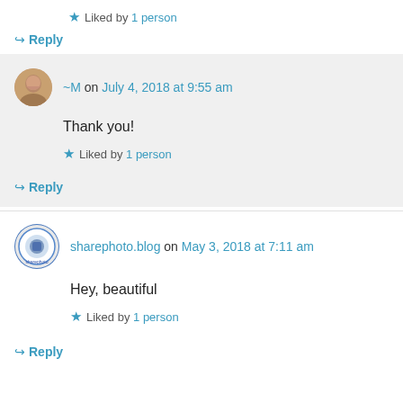★ Liked by 1 person
↪ Reply
~M on July 4, 2018 at 9:55 am
Thank you!
★ Liked by 1 person
↪ Reply
sharephoto.blog on May 3, 2018 at 7:11 am
Hey, beautiful
★ Liked by 1 person
↪ Reply